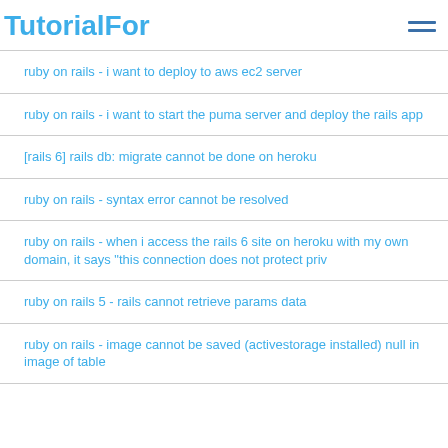TutorialFor
ruby on rails - i want to deploy to aws ec2 server
ruby on rails - i want to start the puma server and deploy the rails app
[rails 6] rails db: migrate cannot be done on heroku
ruby on rails - syntax error cannot be resolved
ruby on rails - when i access the rails 6 site on heroku with my own domain, it says "this connection does not protect priv
ruby on rails 5 - rails cannot retrieve params data
ruby on rails - image cannot be saved (activestorage installed) null in image of table